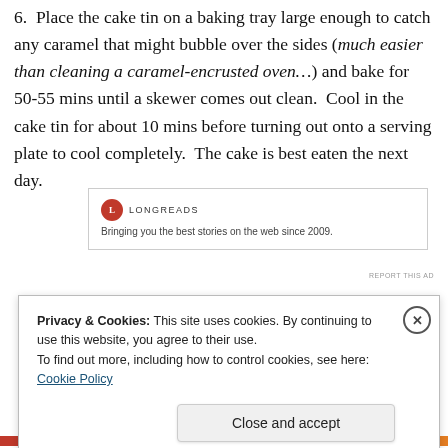6.  Place the cake tin on a baking tray large enough to catch any caramel that might bubble over the sides (much easier than cleaning a caramel-encrusted oven…) and bake for 50-55 mins until a skewer comes out clean.  Cool in the cake tin for about 10 mins before turning out onto a serving plate to cool completely.  The cake is best eaten the next day.
[Figure (other): Longreads advertisement banner: logo with red circle L, brand name LONGREADS, tagline 'Bringing you the best stories on the web since 2009.']
REPORT THIS AD
Privacy & Cookies: This site uses cookies. By continuing to use this website, you agree to their use. To find out more, including how to control cookies, see here: Cookie Policy
Close and accept